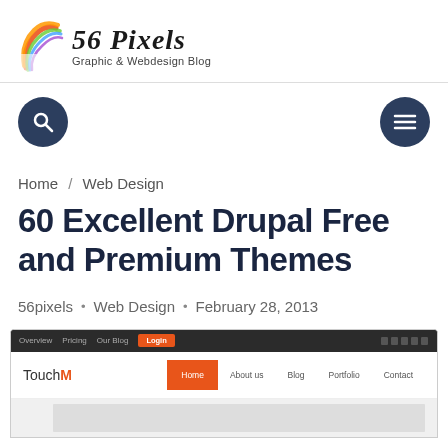[Figure (logo): 56 Pixels logo with colorful graphic icon and italic text '56 Pixels' with subtitle 'Graphic & Webdesign Blog']
Search button and menu button navigation bar
Home / Web Design
60 Excellent Drupal Free and Premium Themes
56pixels • Web Design • February 28, 2013
[Figure (screenshot): Screenshot of TouchM Drupal theme showing dark top bar with orange Login button, white navigation with TouchM logo and orange Home tab, and light gray body area]